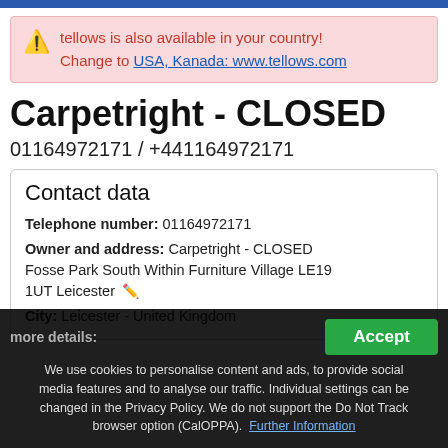tellows is also available in your country! Change to USA, Kanada: www.tellows.com
Carpetright - CLOSED
01164972171 / +441164972171
Contact data
Telephone number: 01164972171
Owner and address: Carpetright - CLOSED Fosse Park South Within Furniture Village LE19 1UT Leicester
City: Leicester - United Kingdom
more details:
Accept
We use cookies to personalise content and ads, to provide social media features and to analyse our traffic. Individual settings can be changed in the Privacy Policy. We do not support the Do Not Track browser option (CalOPPA). Further Information